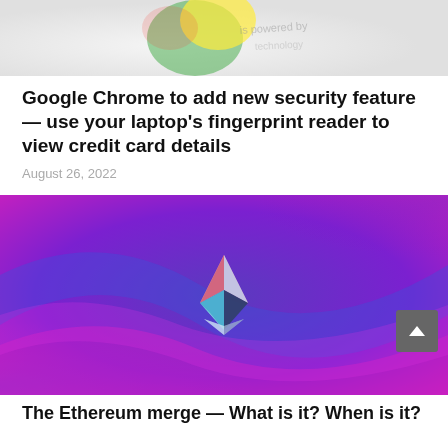[Figure (photo): Top portion of a Google Chrome browser or Google-related image showing green and yellow colors on a light background with faint text]
Google Chrome to add new security feature — use your laptop's fingerprint reader to view credit card details
August 26, 2022
[Figure (photo): Purple and blue abstract wave background with the Ethereum diamond logo (pink, teal, and white faceted gem shape) centered]
The Ethereum merge — What is it? When is it?